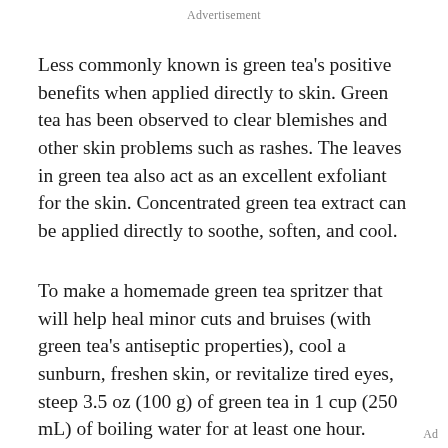Advertisement
Less commonly known is green tea’s positive benefits when applied directly to skin. Green tea has been observed to clear blemishes and other skin problems such as rashes. The leaves in green tea also act as an excellent exfoliant for the skin. Concentrated green tea extract can be applied directly to soothe, soften, and cool.
To make a homemade green tea spritzer that will help heal minor cuts and bruises (with green tea’s antiseptic properties), cool a sunburn, freshen skin, or revitalize tired eyes, steep 3.5 oz (100 g) of green tea in 1 cup (250 mL) of boiling water for at least one hour. Place the liquid in a small spray bottle. This spritzer is best
Ad